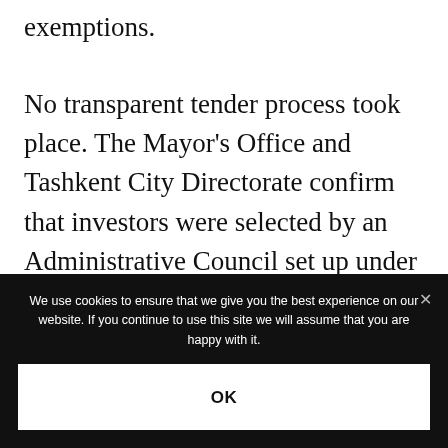exemptions.
No transparent tender process took place. The Mayor's Office and Tashkent City Directorate confirm that investors were selected by an Administrative Council set up under the originating decree.[12] Members of the
We use cookies to ensure that we give you the best experience on our website. If you continue to use this site we will assume that you are happy with it.
OK